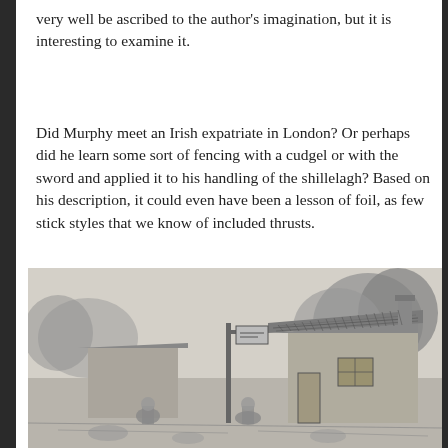very well be ascribed to the author's imagination, but it is interesting to examine it.
Did Murphy meet an Irish expatriate in London? Or perhaps did he learn some sort of fencing with a cudgel or with the sword and applied it to his handling of the shillelagh? Based on his description, it could even have been a lesson of foil, as few stick styles that we know of included thrusts.
[Figure (illustration): A pencil or ink sketch of a rustic Irish scene showing a thatched-roof building/pub with a hanging sign on a post, trees and foliage in the background, and figures in the foreground.]